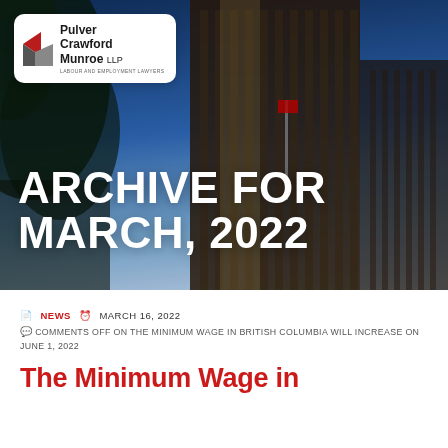[Figure (photo): Hero banner photograph of a tall dark glass office building shot from below against a blue sky with trees, overlaid with large white bold text reading ARCHIVE FOR MARCH, 2022. A law firm logo badge for Pulver Crawford Munroe LLP, Labour and Employment Lawyers is in the top-left corner.]
NEWS   MARCH 16, 2022
COMMENTS OFF ON THE MINIMUM WAGE IN BRITISH COLUMBIA WILL INCREASE ON JUNE 1, 2022
The Minimum Wage in